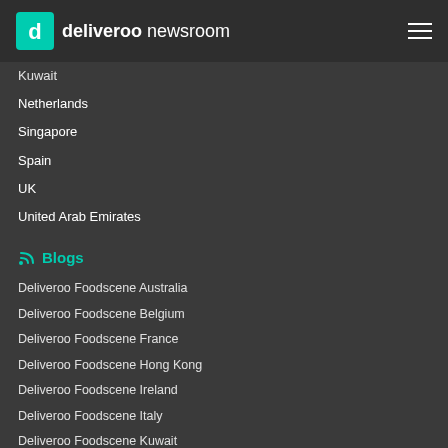deliveroo newsroom
Kuwait
Netherlands
Singapore
Spain
UK
United Arab Emirates
Blogs
Deliveroo Foodscene Australia
Deliveroo Foodscene Belgium
Deliveroo Foodscene France
Deliveroo Foodscene Hong Kong
Deliveroo Foodscene Ireland
Deliveroo Foodscene Italy
Deliveroo Foodscene Kuwait
Deliveroo Foodscene Netherlands
Deliveroo Foodscene Singapore